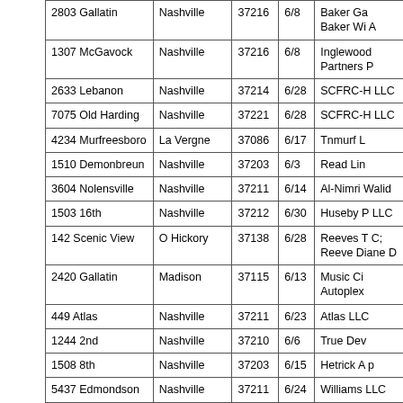| Address | City | ZIP | Date | Owner/Entity |
| --- | --- | --- | --- | --- |
| 2803 Gallatin | Nashville | 37216 | 6/8 | Baker Ga Baker Wi A |
| 1307 McGavock | Nashville | 37216 | 6/8 | Inglewood Partners P |
| 2633 Lebanon | Nashville | 37214 | 6/28 | SCFRC-H LLC |
| 7075 Old Harding | Nashville | 37221 | 6/28 | SCFRC-H LLC |
| 4234 Murfreesboro | La Vergne | 37086 | 6/17 | Tnmurf L |
| 1510 Demonbreun | Nashville | 37203 | 6/3 | Read Lin |
| 3604 Nolensville | Nashville | 37211 | 6/14 | Al-Nimri Walid |
| 1503 16th | Nashville | 37212 | 6/30 | Huseby P LLC |
| 142 Scenic View | O Hickory | 37138 | 6/28 | Reeves T C; Reeve Diane D |
| 2420 Gallatin | Madison | 37115 | 6/13 | Music Ci Autoplex |
| 449 Atlas | Nashville | 37211 | 6/23 | Atlas LLC |
| 1244 2nd | Nashville | 37210 | 6/6 | True Dev |
| 1508 8th | Nashville | 37203 | 6/15 | Hetrick A p |
| 5437 Edmondson | Nashville | 37211 | 6/24 | Williams LLC |
| 3444 Leb... | Murfreesb... | 37271 | 6/... | 3444 Leb |